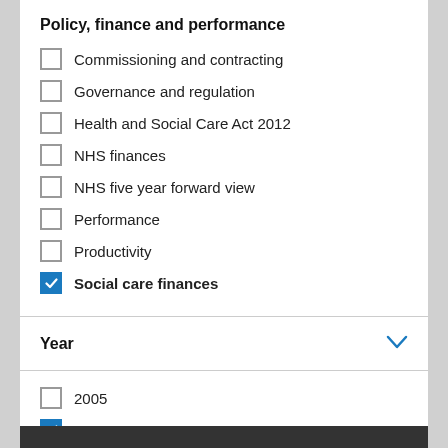Policy, finance and performance
Commissioning and contracting
Governance and regulation
Health and Social Care Act 2012
NHS finances
NHS five year forward view
Performance
Productivity
Social care finances
Year
2005
2006
2007